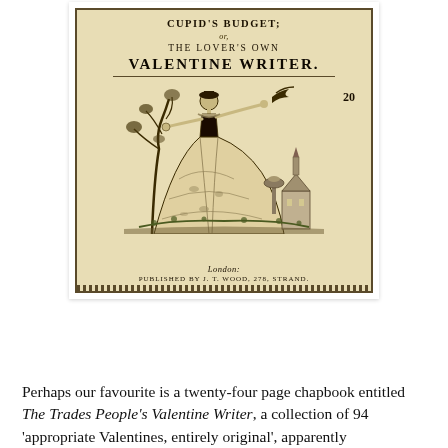[Figure (illustration): Scanned cover of an antique chapbook titled 'Cupid's Budget; or, The Lover's Own Valentine Writer', published in London by J.T. Wood, 278 Strand. The cover features a Victorian-era illustration of a woman in a large crinoline dress releasing a bird, with a tree and a church in the background. The price '20' is shown. The cover has an aged, yellowed appearance with a decorative border.]
Perhaps our favourite is a twenty-four page chapbook entitled The Trades People's Valentine Writer, a collection of 94 'appropriate Valentines, entirely original', apparently